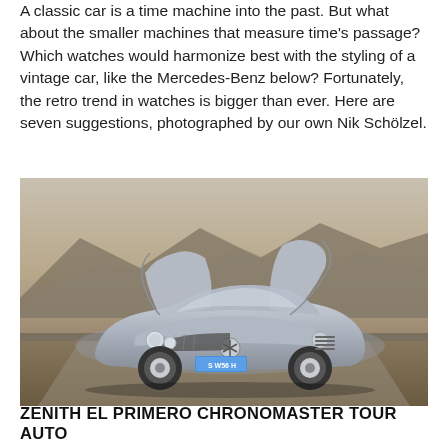A classic car is a time machine into the past. But what about the smaller machines that measure time's passage? Which watches would harmonize best with the styling of a vintage car, like the Mercedes-Benz below? Fortunately, the retro trend in watches is bigger than ever. Here are seven suggestions, photographed by our own Nik Schölzel.
[Figure (photo): A silver Mercedes-Benz 300SL Gullwing (license plate S W56 H) with both gullwing doors open, photographed outdoors with mountains in the background.]
ZENITH EL PRIMERO CHRONOMASTER TOUR AUTO